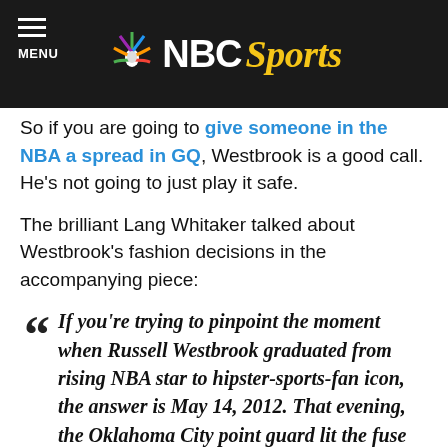NBC Sports
So if you are going to give someone in the NBA a spread in GQ, Westbrook is a good call. He's not going to just play it safe.
The brilliant Lang Whitaker talked about Westbrook's fashion decisions in the accompanying piece:
If you're trying to pinpoint the moment when Russell Westbrook graduated from rising NBA star to hipster-sports-fan icon, the answer is May 14, 2012. That evening, the Oklahoma City point guard lit the fuse on the Thunder's near playoff sweep of the Lakers with twenty-seven points. But it wasn't anything he did during the game. It was what